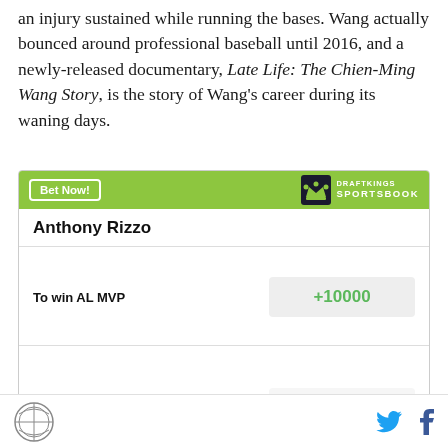an injury sustained while running the bases. Wang actually bounced around professional baseball until 2016, and a newly-released documentary, Late Life: The Chien-Ming Wang Story, is the story of Wang's career during its waning days.
[Figure (other): DraftKings Sportsbook betting widget showing Anthony Rizzo odds: To win AL MVP +10000, Most regular season home (truncated)]
SB Nation logo | Twitter icon | Facebook icon